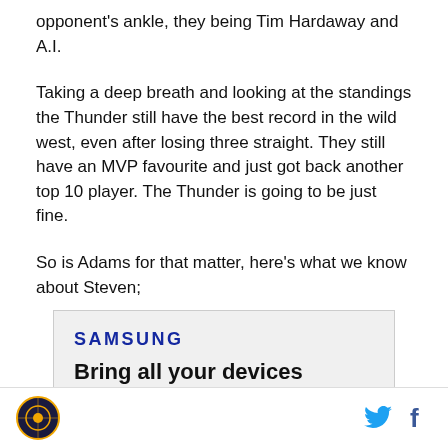opponent's ankle, they being Tim Hardaway and A.I.
Taking a deep breath and looking at the standings the Thunder still have the best record in the wild west, even after losing three straight. They still have an MVP favourite and just got back another top 10 player. The Thunder is going to be just fine.
So is Adams for that matter, here's what we know about Steven;
[Figure (other): Samsung advertisement: 'Bring all your devices into the fold' with a button below]
Logo icon, Twitter bird icon, Facebook f icon